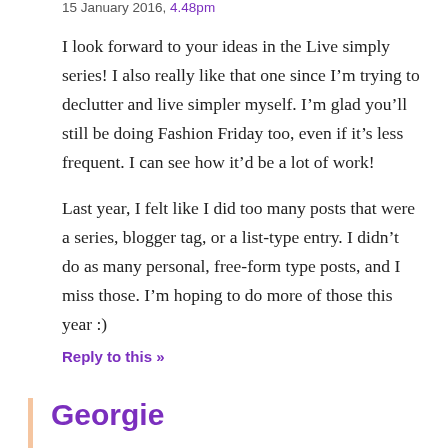15 January 2016, 4.48pm
I look forward to your ideas in the Live simply series! I also really like that one since I'm trying to declutter and live simpler myself. I'm glad you'll still be doing Fashion Friday too, even if it's less frequent. I can see how it'd be a lot of work!

Last year, I felt like I did too many posts that were a series, blogger tag, or a list-type entry. I didn't do as many personal, free-form type posts, and I miss those. I'm hoping to do more of those this year :)
Reply to this »
Georgie